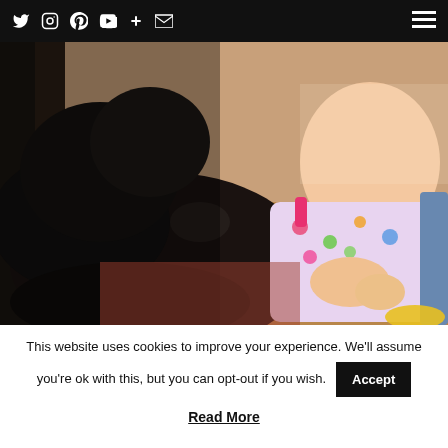Navigation bar with social icons: Twitter, Instagram, Pinterest, YouTube, Plus, Email, and hamburger menu
[Figure (photo): A toddler in a colorful floral outfit sitting on a patterned rug next to a black dog, looking down at the dog]
This website uses cookies to improve your experience. We'll assume you're ok with this, but you can opt-out if you wish.
Accept
Read More